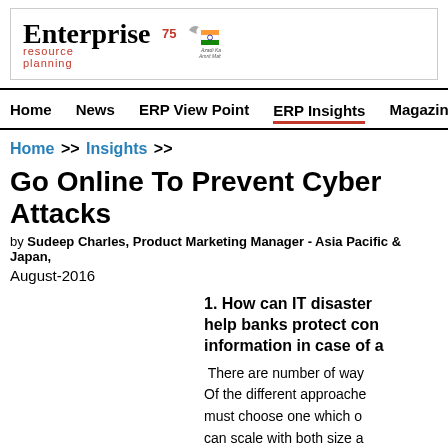[Figure (logo): Enterprise Resource Planning logo with Azadi Ka Amrit Mahotsav badge]
Home  News  ERP View Point  ERP Insights  Magazine
Home >> Insights >>
Go Online To Prevent Cyber Attacks
by Sudeep Charles, Product Marketing Manager - Asia Pacific & Japan, August-2016
1. How can IT disaster help banks protect con information in case of a
There are number of way Of the different approache must choose one which o can scale with both size a and does not have an imp online assets.